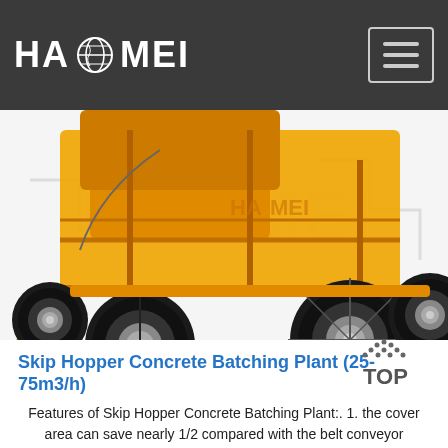HAOMEI
[Figure (photo): Close-up photo of a yellow/orange concrete batching plant mixer machine on four large pneumatic rubber tires, with orange steel frame structure visible, against white background with faint HAOMEI watermark logo]
Skip Hopper Concrete Batching Plant (25-75m3/h)
Features of Skip Hopper Concrete Batching Plant:. 1. the cover area can save nearly 1/2 compared with the belt conveyor concrete batching plant. 2. the installation and commissioning is